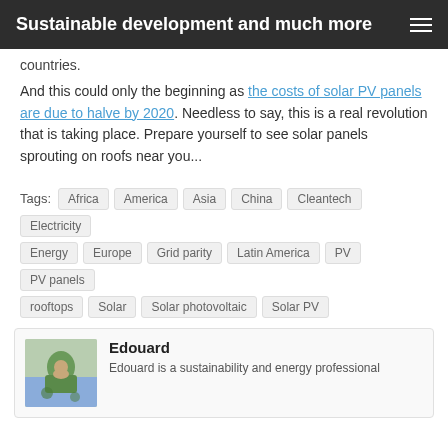Sustainable development and much more
countries.
And this could only the beginning as the costs of solar PV panels are due to halve by 2020. Needless to say, this is a real revolution that is taking place. Prepare yourself to see solar panels sprouting on roofs near you...
Tags: Africa  America  Asia  China  Cleantech  Electricity  Energy  Europe  Grid parity  Latin America  PV  PV panels  rooftops  Solar  Solar photovoltaic  Solar PV
Edouard
Edouard is a sustainability and energy professional